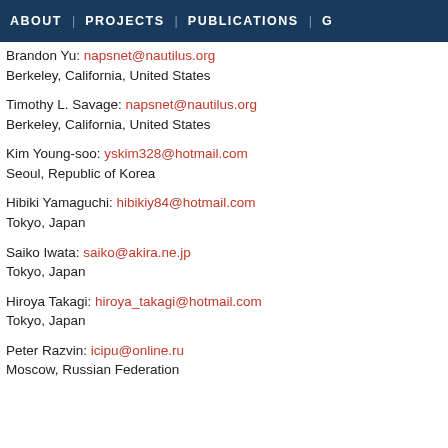ABOUT | PROJECTS | PUBLICATIONS | G
Brandon Yu: napsnet@nautilus.org
Berkeley, California, United States
Timothy L. Savage: napsnet@nautilus.org
Berkeley, California, United States
Kim Young-soo: yskim328@hotmail.com
Seoul, Republic of Korea
Hibiki Yamaguchi: hibikiy84@hotmail.com
Tokyo, Japan
Saiko Iwata: saiko@akira.ne.jp
Tokyo, Japan
Hiroya Takagi: hiroya_takagi@hotmail.com
Tokyo, Japan
Peter Razvin: icipu@online.ru
Moscow, Russian Federation